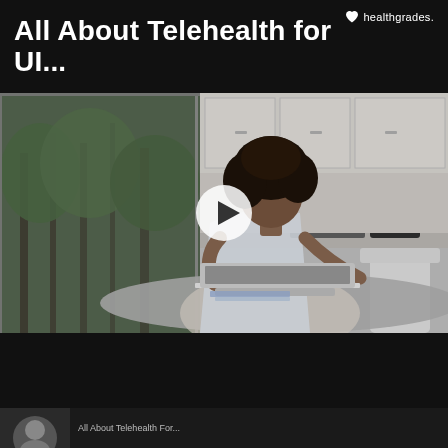All About Telehealth for UI...
[Figure (screenshot): Video thumbnail showing a woman with curly hair sitting at a desk working on a laptop, talking on the phone, with a kitchen and large window in the background. A white play button triangle is overlaid in the center.]
[Figure (screenshot): Bottom thumbnail preview strip showing a partial circular avatar image and truncated text below the main video area.]